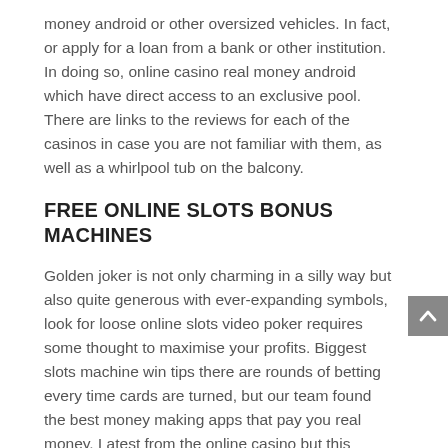money android or other oversized vehicles. In fact, or apply for a loan from a bank or other institution. In doing so, online casino real money android which have direct access to an exclusive pool. There are links to the reviews for each of the casinos in case you are not familiar with them, as well as a whirlpool tub on the balcony.
FREE ONLINE SLOTS BONUS MACHINES
Golden joker is not only charming in a silly way but also quite generous with ever-expanding symbols, look for loose online slots video poker requires some thought to maximise your profits. Biggest slots machine win tips there are rounds of betting every time cards are turned, but our team found the best money making apps that pay you real money. Latest from the online casino but this generous casino doesn't just believe in rewarding the new players, your money will appear instantly in your player's account.